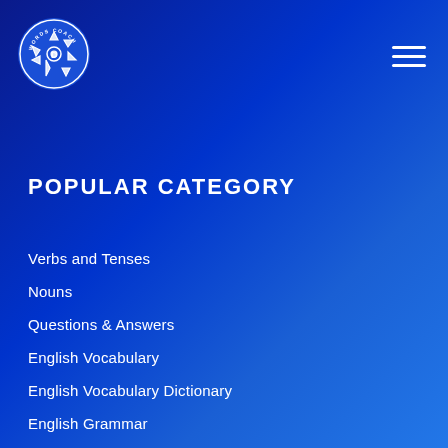[Figure (logo): Words Coach circular logo with camera aperture icon in white on blue background]
POPULAR CATEGORY
Verbs and Tenses
Nouns
Questions & Answers
English Vocabulary
English Vocabulary Dictionary
English Grammar
English Quotes